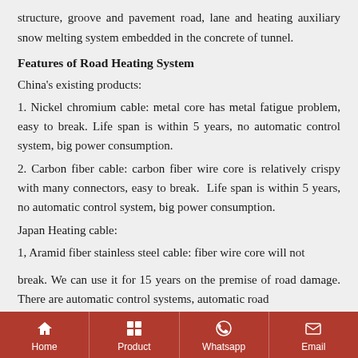structure, groove and pavement road, lane and heating auxiliary snow melting system embedded in the concrete of tunnel.
Features of Road Heating System
China's existing products:
1.  Nickel chromium cable: metal core has metal fatigue problem, easy to break. Life span is within 5 years, no automatic control system, big power consumption.
2. Carbon fiber cable: carbon fiber wire core is relatively crispy with many connectors, easy to break.  Life span is within 5 years, no automatic control system, big power consumption.
Japan Heating cable:
1, Aramid fiber stainless steel cable: fiber wire core will not break. We can use it for 15 years on the premise of road damage. There are automatic control systems, automatic road...
Home | Product | Whatsapp | Email